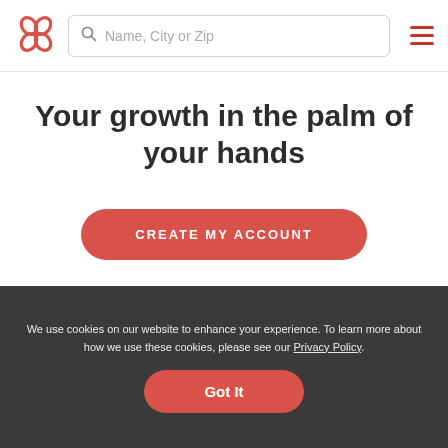[Figure (logo): Red butterfly/flower logo icon]
Name, City or Zip
[Figure (other): Hamburger menu icon (three horizontal red lines)]
Your growth in the palm of your hands
CREATE MY ACCOUNT
We use cookies on our website to enhance your experience. To learn more about how we use these cookies, please see our Privacy Policy.
Got It